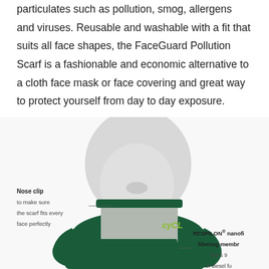particulates such as pollution, smog, allergens and viruses. Reusable and washable with a fit that suits all face shapes, the FaceGuard Pollution Scarf is a fashionable and economic alternative to a cloth face mask or face covering and great way to protect yourself from day to day exposure.
[Figure (photo): A white mannequin head wearing a dark green FaceGuard Pollution Scarf/face mask with a grey filter panel in the front. Annotations point to 'Nose clip' with description 'to make sure the scarf fits every face perfectly' and 'RESPILON® nanofi... filtering membr...' with description 'filters 9... of diesel fu...'. A green CYCL logo is visible on the grey filter panel.]